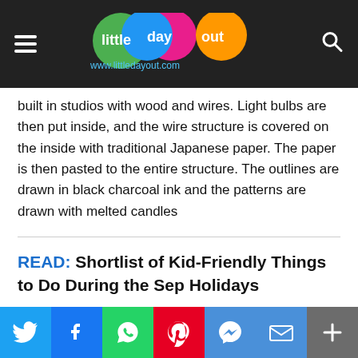little day out — www.littledayout.com
built in studios with wood and wires. Light bulbs are then put inside, and the wire structure is covered on the inside with traditional Japanese paper. The paper is then pasted to the entire structure. The outlines are drawn in black charcoal ink and the patterns are drawn with melted candles
READ: Shortlist of Kid-Friendly Things to Do During the Sep Holidays
The floats are often as wide as nine meters and as tall as five meters and usually resemble mythical figures, gods and characters, with masks and accessories, or even TV